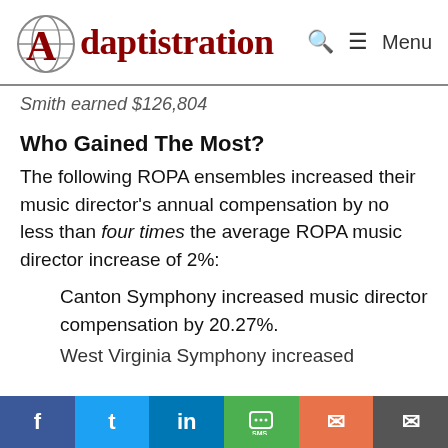Adaptistration — Menu
Smith earned $126,804
Who Gained The Most?
The following ROPA ensembles increased their music director's annual compensation by no less than four times the average ROPA music director increase of 2%:
1. Canton Symphony increased music director compensation by 20.27%.
2. West Virginia Symphony increased